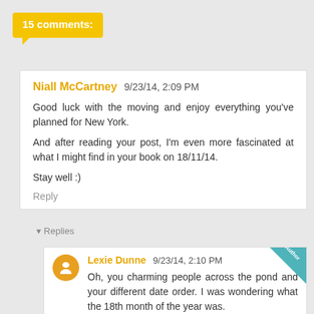15 comments:
Niall McCartney 9/23/14, 2:09 PM

Good luck with the moving and enjoy everything you've planned for New York.

And after reading your post, I'm even more fascinated at what I might find in your book on 18/11/14.

Stay well :)

Reply
▼ Replies
Lexie Dunne 9/23/14, 2:10 PM

Oh, you charming people across the pond and your different date order. I was wondering what the 18th month of the year was.